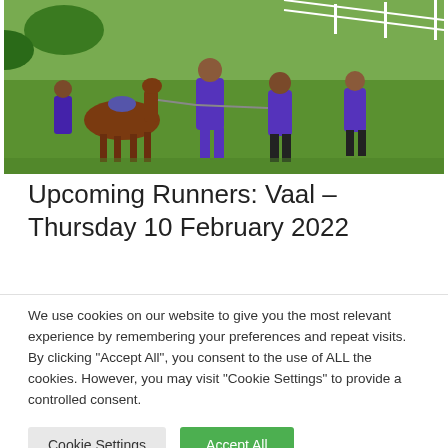[Figure (photo): Photo of people in purple shirts leading a brown horse on a green grass track at a racecourse.]
Upcoming Runners: Vaal – Thursday 10 February 2022
We use cookies on our website to give you the most relevant experience by remembering your preferences and repeat visits. By clicking "Accept All", you consent to the use of ALL the cookies. However, you may visit "Cookie Settings" to provide a controlled consent.